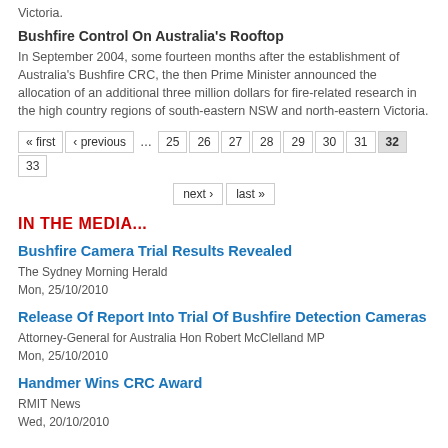Victoria.
Bushfire Control On Australia's Rooftop
In September 2004, some fourteen months after the establishment of Australia's Bushfire CRC, the then Prime Minister announced the allocation of an additional three million dollars for fire-related research in the high country regions of south-eastern NSW and north-eastern Victoria.
« first ‹ previous … 25 26 27 28 29 30 31 32 33 next › last »
IN THE MEDIA...
Bushfire Camera Trial Results Revealed
The Sydney Morning Herald
Mon, 25/10/2010
Release Of Report Into Trial Of Bushfire Detection Cameras
Attorney-General for Australia Hon Robert McClelland MP
Mon, 25/10/2010
Handmer Wins CRC Award
RMIT News
Wed, 20/10/2010